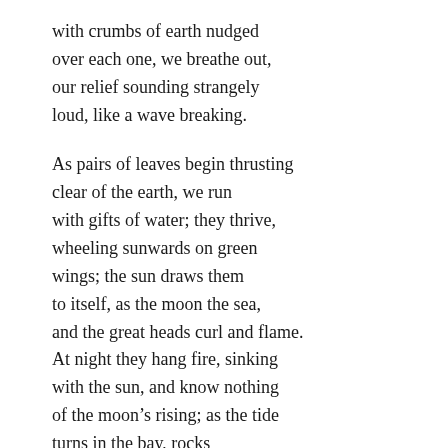with crumbs of earth nudged
over each one, we breathe out,
our relief sounding strangely
loud, like a wave breaking.

As pairs of leaves begin thrusting
clear of the earth, we run
with gifts of water; they thrive,
wheeling sunwards on green
wings; the sun draws them
to itself, as the moon the sea,
and the great heads curl and flame.
At night they hang fire, sinking
with the sun, and know nothing
of the moon's rising; as the tide
turns in the bay, rocks
push through the sea. Sun
stirs the slow coronas.